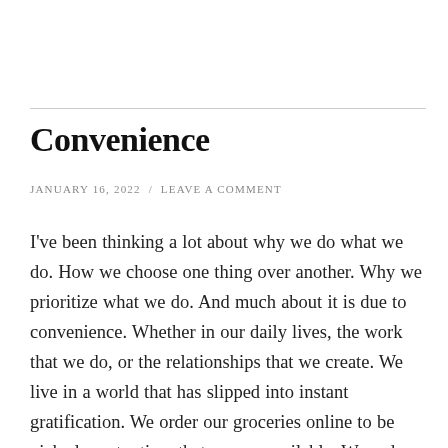Convenience
JANUARY 16, 2022 / LEAVE A COMMENT
I've been thinking a lot about why we do what we do. How we choose one thing over another. Why we prioritize what we do. And much about it is due to convenience. Whether in our daily lives, the work that we do, or the relationships that we create. We live in a world that has slipped into instant gratification. We order our groceries online to be picked up at a time that we are available. We order food to go, or to be delivered directly to our doorsteps. We respond to